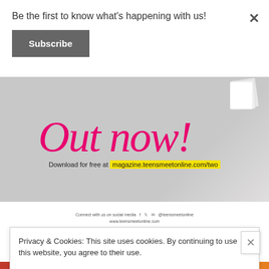Be the first to know what's happening with us!
Subscribe
[Figure (illustration): Magazine promotional banner with cursive pink 'Out now!' text on gray background, with text 'Download for free at magazine.teensmeetonline.com/two' highlighted in yellow]
Connect with us on social media f t @ @teensmeetonline www.teensmeetonline.com
Privacy & Cookies: This site uses cookies. By continuing to use this website, you agree to their use.
To find out more, including how to control cookies, see here: Cookie Policy
Close and accept